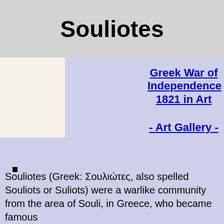Souliotes
[Figure (photo): Thumbnail image placeholder (beige/cream colored box) on the left side of the content area]
Greek War of Independence 1821 in Art
- Art Gallery -
■
Souliotes (Greek: Σουλιώτες, also spelled Souliots or Suliots) were a warlike community from the area of Souli, in Greece, who became famous